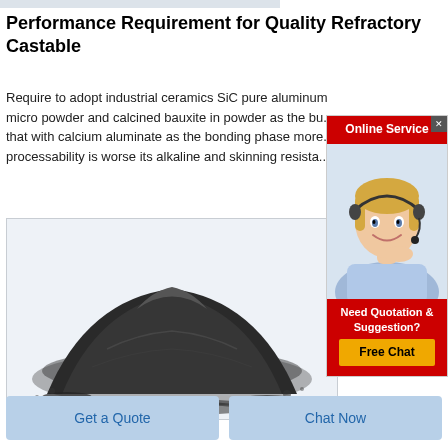Performance Requirement for Quality Refractory Castable
Require to adopt industrial ceramics SiC pure aluminum micro powder and calcined bauxite in powder as the bu... that with calcium aluminate as the bonding phase more... processability is worse its alkaline and skinning resista...
[Figure (photo): A pile of dark gray/black SiC or refractory ceramic micro powder on a light blue-gray background]
[Figure (illustration): Online Service widget showing a customer service representative (blonde woman with headset) with red header 'Online Service', red bottom section 'Need Quotation & Suggestion?' and yellow 'Free Chat' button]
Get a Quote
Chat Now